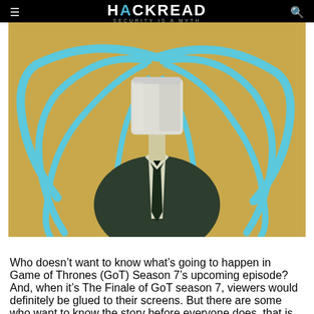HACKREAD — SECURITY IS A MYTH
[Figure (illustration): Illustrated figure of a headless suited man in a dark jacket and tie with blue tentacle-like cables connected to a white bucket-shaped head, on a tan/yellow background]
Who doesn’t want to know what’s going to happen in Game of Thrones (GoT) Season 7’s upcoming episode? And, when it’s The Finale of GoT season 7, viewers would definitely be glued to their screens. But there are some who want to know the story before everyone does, that is, when the episode officially airs and we have got plenty of cyber criminals who would like to fulfill this wish of GoT fans.